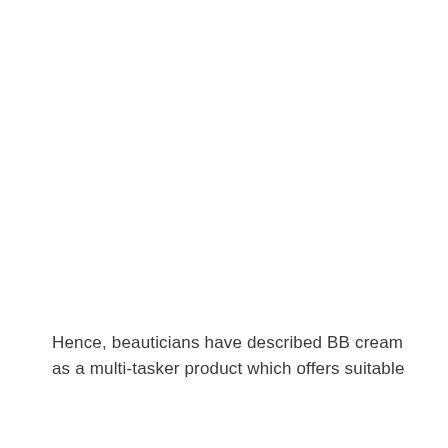Hence, beauticians have described BB cream as a multi-tasker product which offers suitable